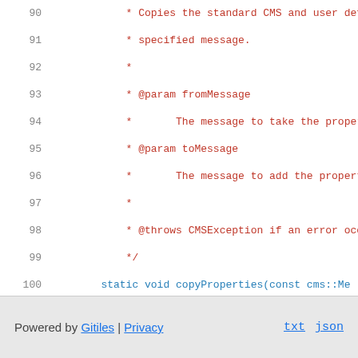Code listing lines 90-106: C++ header file with Javadoc-style comments and function signature for copyProperties, closing braces, and #endif preprocessor directive.
Powered by Gitiles | Privacy    txt  json